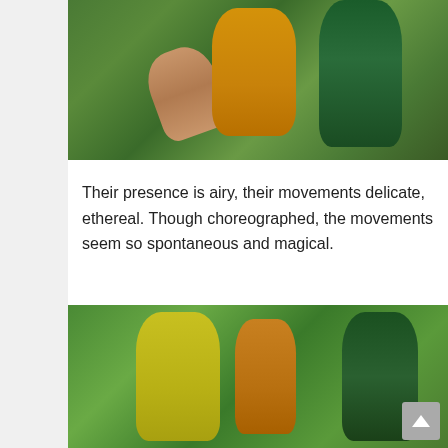[Figure (photo): Dancers performing outdoors in a wooded park setting. Three women in flowing costumes — one in tan/beige, one in golden yellow, one in dark green — performing choreographed movements among lush green foliage.]
Their presence is airy, their movements delicate, ethereal. Though choreographed, the movements seem so spontaneous and magical.
[Figure (photo): Dancers in a circle outdoors in a wooded park setting. Multiple women in colorful flowing gowns — yellow-green, gold, and dark green — holding hands or reaching toward each other, with audience members visible in the background.]